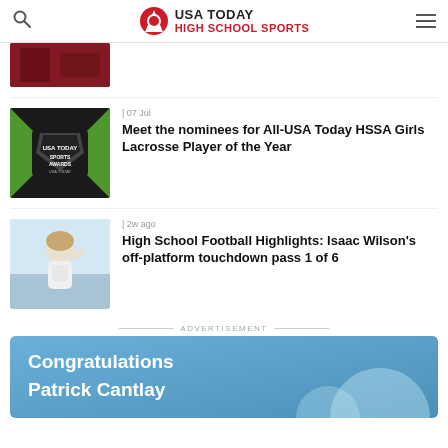USA TODAY HIGH SCHOOL SPORTS
[Figure (photo): Cropped photo showing dark red/maroon fabric or jersey at top]
| 07 Jul
Meet the nominees for All-USA Today HSSA Girls Lacrosse Player of the Year
[Figure (photo): USA Today Sports Awards logo on black and green background]
| 2w ago
High School Football Highlights: Isaac Wilson's off-platform touchdown pass 1 of 6
[Figure (photo): Young football player in white jersey throwing a pass outdoors]
ADVERTISEMENT
[Figure (infographic): Advertisement banner with blue background reading 'Congratulations Patrick Cantlay']